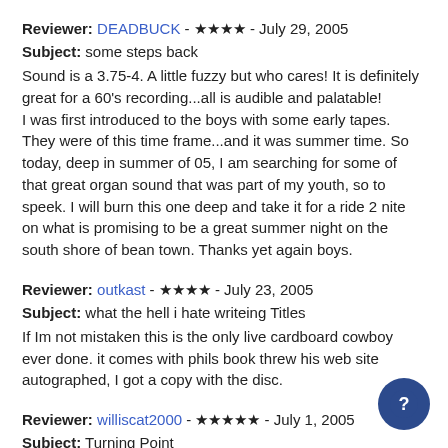Reviewer: DEADBUCK - ★★★★ - July 29, 2005
Subject: some steps back
Sound is a 3.75-4. A little fuzzy but who cares! It is definitely great for a 60's recording...all is audible and palatable! I was first introduced to the boys with some early tapes. They were of this time frame...and it was summer time. So today, deep in summer of 05, I am searching for some of that great organ sound that was part of my youth, so to speek. I will burn this one deep and take it for a ride 2 nite on what is promising to be a great summer night on the south shore of bean town. Thanks yet again boys.
Reviewer: outkast - ★★★★ - July 23, 2005
Subject: what the hell i hate writeing Titles
If Im not mistaken this is the only live cardboard cowboy ever done. it comes with phils book threw his web site autographed, I got a copy with the disc.
Reviewer: williscat2000 - ★★★★★ - July 1, 2005
Subject: Turning Point
Turning point for viola lee blues, compared to all earlier 1966 shows then ending. The organ sound here was around...